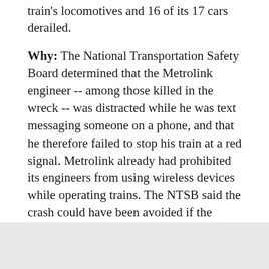train's locomotives and 16 of its 17 cars derailed.
Why: The National Transportation Safety Board determined that the Metrolink engineer -- among those killed in the wreck -- was distracted while he was text messaging someone on a phone, and that he therefore failed to stop his train at a red signal. Metrolink already had prohibited its engineers from using wireless devices while operating trains. The NTSB said the crash could have been avoided if the Metrolink train had had positive train control technology, which combines GPS and other technology to monitor trains and stop them from colliding, derailing or speeding.